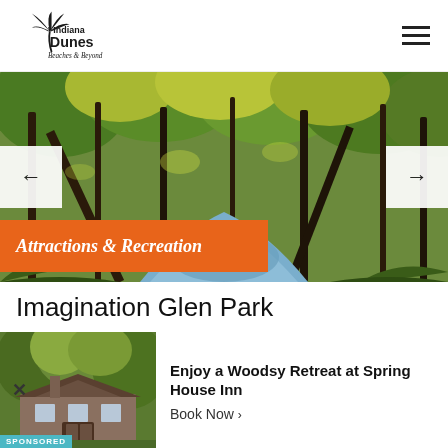[Figure (logo): Indiana Dunes Beaches & Beyond logo with palm tree graphic]
[Figure (photo): Nature scene with river/stream flanked by green and golden autumn trees, viewed from above]
Attractions & Recreation
Imagination Glen Park
[Figure (photo): Advertisement image of Spring House Inn building surrounded by trees]
Enjoy a Woodsy Retreat at Spring House Inn
Book Now ›
SPONSORED